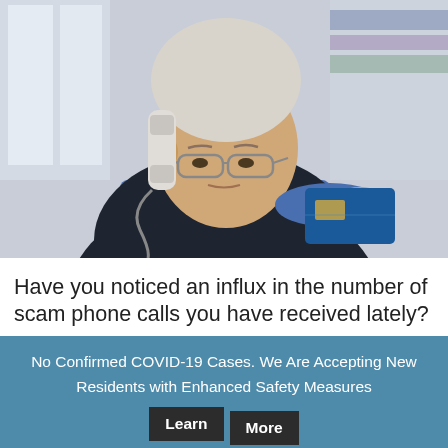[Figure (photo): Elderly man with white hair and glasses talking on a landline phone while holding a blue credit card, wearing a dark vest over a blue shirt, with a blurred indoor background.]
Have you noticed an influx in the number of scam phone calls you have received lately?
No Confirmed COVID-19 Cases. We Are Accepting New Residents with Enhanced Safety Measures
Learn More